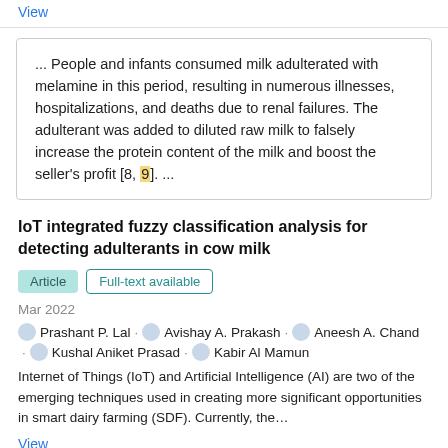View
... People and infants consumed milk adulterated with melamine in this period, resulting in numerous illnesses, hospitalizations, and deaths due to renal failures. The adulterant was added to diluted raw milk to falsely increase the protein content of the milk and boost the seller's profit [8, 9]. ...
IoT integrated fuzzy classification analysis for detecting adulterants in cow milk
Article   Full-text available
Mar 2022
Prashant P. Lal · Avishay A. Prakash · Aneesh A. Chand · Kushal Aniket Prasad · Kabir Al Mamun
Internet of Things (IoT) and Artificial Intelligence (AI) are two of the emerging techniques used in creating more significant opportunities in smart dairy farming (SDF). Currently, the…
View